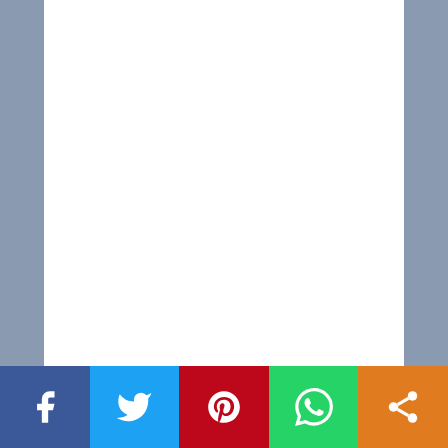[Figure (other): Large white blank area representing an image placeholder at the top of the page]
Normally, the blood minerals come from the diet
Social sharing bar with Facebook, Twitter, Pinterest, WhatsApp, and Share buttons